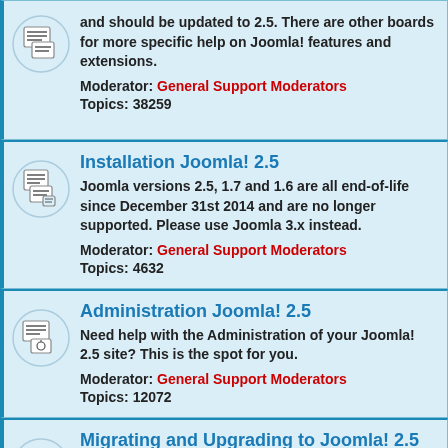and should be updated to 2.5. There are other boards for more specific help on Joomla! features and extensions. Moderator: General Support Moderators Topics: 38259
Installation Joomla! 2.5 — Joomla versions 2.5, 1.7 and 1.6 are all end-of-life since December 31st 2014 and are no longer supported. Please use Joomla 3.x instead. Moderator: General Support Moderators Topics: 4632
Administration Joomla! 2.5 — Need help with the Administration of your Joomla! 2.5 site? This is the spot for you. Moderator: General Support Moderators Topics: 12072
Migrating and Upgrading to Joomla! 2.5 — Joomla versions 2.5, 1.7 and 1.6 are all end-of-life since December 31st 2014 and are no longer...